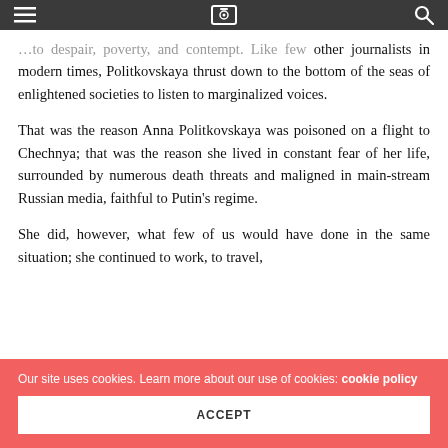[navigation bar with menu, logo, and search icons]
...to despair, poverty, and contempt. Like few other journalists in modern times, Politkovskaya thrust down to the bottom of the seas of enlightened societies to listen to marginalized voices.
That was the reason Anna Politkovskaya was poisoned on a flight to Chechnya; that was the reason she lived in constant fear of her life, surrounded by numerous death threats and maligned in main-stream Russian media, faithful to Putin’s regime.
She did, however, what few of us would have done in the same situation; she continued to work, to travel,
Our site uses cookies. Learn more about our use of cookies: cookie policy
ACCEPT